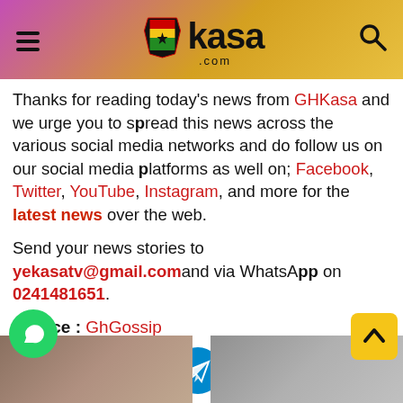GHKasa.com
Thanks for reading today's news from GHKasa and we urge you to spread this news across the various social media networks and do follow us on our social media platforms as well on; Facebook, Twitter, YouTube, Instagram, and more for the latest news over the web.
Send your news stories to yekasatv@gmail.com and via WhatsApp on 0241481651.
Source : GhGossip
[Figure (infographic): Social media share buttons: WhatsApp (green), Facebook (blue), Twitter (light blue), Telegram (blue), Pinterest (red with count 1)]
[Figure (infographic): WhatsApp contact button (green circle), scroll-to-top button (yellow), and two thumbnail photos at the bottom.]